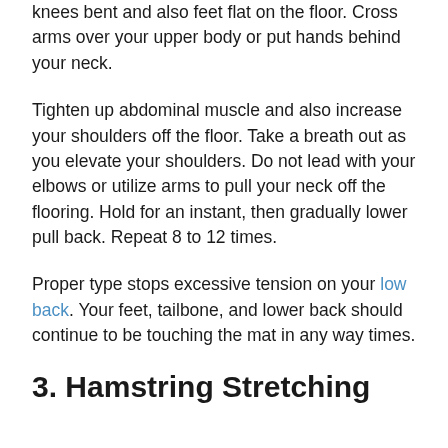knees bent and also feet flat on the floor. Cross arms over your upper body or put hands behind your neck.
Tighten up abdominal muscle and also increase your shoulders off the floor. Take a breath out as you elevate your shoulders. Do not lead with your elbows or utilize arms to pull your neck off the flooring. Hold for an instant, then gradually lower pull back. Repeat 8 to 12 times.
Proper type stops excessive tension on your low back. Your feet, tailbone, and lower back should continue to be touching the mat in any way times.
3. Hamstring Stretching